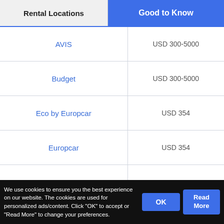Rental Locations | Good to Know
|  |  |
| --- | --- |
| AVIS | USD 300-5000 |
| Budget | USD 300-5000 |
| Eco by Europcar | USD 354 |
| Europcar | USD 354 |
|  |  |
* Remind yourself to read the T&Cs during booking for deposit policy
We use cookies to ensure you the best experience on our website. The cookies are used for personalized ads/content. Click "OK" to accept or "Read More" to change your preferences.